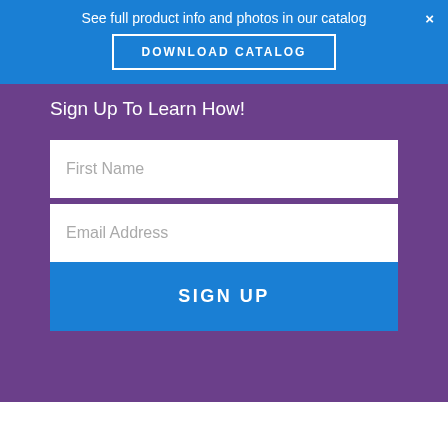See full product info and photos in our catalog
DOWNLOAD CATALOG
×
Sign Up To Learn How!
First Name
Email Address
SIGN UP